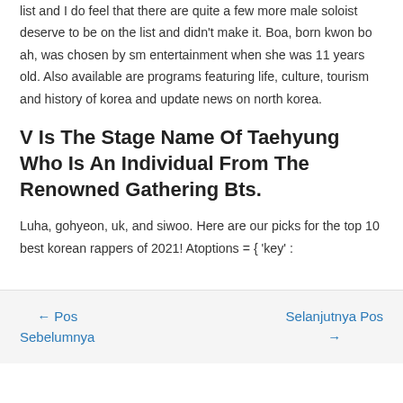list and I do feel that there are quite a few more male soloist deserve to be on the list and didn't make it. Boa, born kwon bo ah, was chosen by sm entertainment when she was 11 years old. Also available are programs featuring life, culture, tourism and history of korea and update news on north korea.
V Is The Stage Name Of Taehyung Who Is An Individual From The Renowned Gathering Bts.
Luha, gohyeon, uk, and siwoo. Here are our picks for the top 10 best korean rappers of 2021! Atoptions = { 'key' :
← Pos Sebelumnya    Selanjutnya Pos →